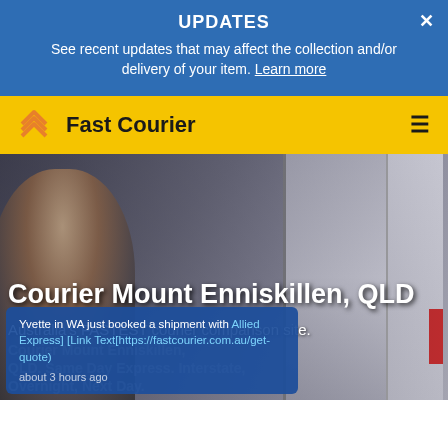UPDATES
See recent updates that may affect the collection and/or delivery of your item. Learn more
[Figure (logo): Fast Courier logo with orange layered arrow icon and yellow navigation bar with hamburger menu]
[Figure (photo): Hero image of courier/delivery person near a vehicle door, with overlaid text: Courier Mount Enniskillen, QLD and Australia's FASTEST courier comparison site.]
Courier Mount Enniskillen, QLD
Australia's FASTEST courier comparison site.
Yvette in WA just booked a shipment with Allied Express] [Link Text[https://fastcourier.com.au/get-quote)
about 3 hours ago